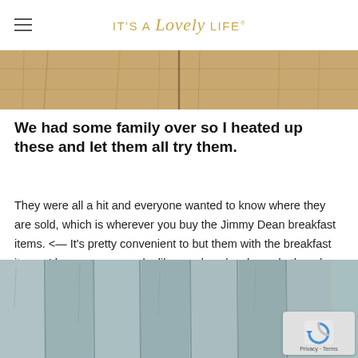IT'S A Lovely LIFE
[Figure (photo): Close-up photo of a wooden surface with warm brown tones, showing wood grain texture]
We had some family over so I heated up these and let them all try them.
They were all a hit and everyone wanted to know where they are sold, which is wherever you buy the Jimmy Dean breakfast items. <— It’s pretty convenient to but them with the breakfast items. I know some people, like me, love bowls, and others love sandwiches so you can all find your favorite meal option.
[Figure (photo): Photo of a light blue-gray weathered wooden fence or wall with vertical planks]